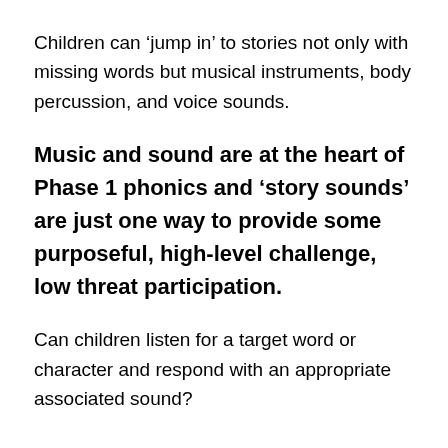Children can ‘jump in’ to stories not only with missing words but musical instruments, body percussion, and voice sounds.
Music and sound are at the heart of Phase 1 phonics and ‘story sounds’ are just one way to provide some purposeful, high-level challenge, low threat participation.
Can children listen for a target word or character and respond with an appropriate associated sound?